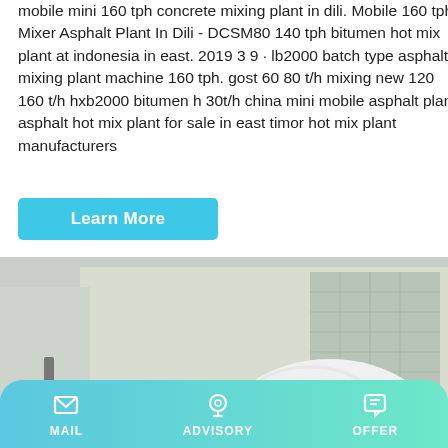mobile mini 160 tph concrete mixing plant in dili. Mobile 160 tph Mixer Asphalt Plant In Dili - DCSM80 140 tph bitumen hot mix plant at indonesia in east. 2019 3 9 · lb2000 batch type asphalt mixing plant machine 160 tph. gost 60 80 t/h mixing new 120 160 t/h hxb2000 bitumen h 30t/h china mini mobile asphalt plant asphalt hot mix plant for sale in east timor hot mix plant manufacturers
Learn More
[Figure (photo): A white and green HOWO concrete mixer truck parked in front of an industrial building. The truck has a large rotating drum painted white with green stripes, mounted on a heavy-duty chassis.]
MAIL   ADVISORY   OFFER